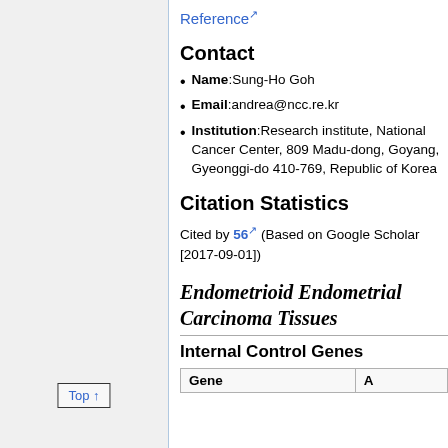Reference ↗
Contact
Name:Sung-Ho Goh
Email:andrea@ncc.re.kr
Institution:Research institute, National Cancer Center, 809 Madudong, Goyang, Gyeonggi-do 410-769, Republic of Korea
Citation Statistics
Cited by 56 ↗ (Based on Google Scholar [2017-09-01])
Endometrioid Endometrial Carcinoma Tissues
Internal Control Genes
| Gene | A... |
| --- | --- |